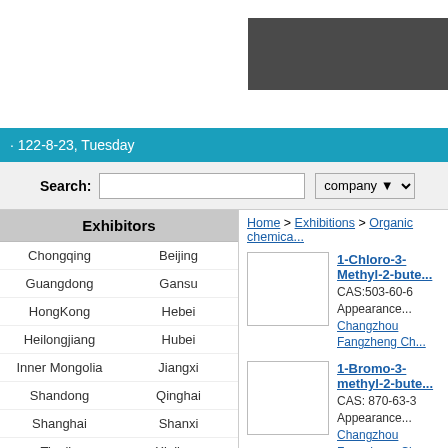· 122-8-23, Tuesday
Search: [input] company [dropdown]
Exhibitors
Chongqing  Beijing
Guangdong  Gansu
HongKong  Hebei
Heilongjiang  Hubei
Inner Mongolia  Jiangxi
Shandong  Qinghai
Shanghai  Shanxi
Tianjin  Xinjiang
Zhejiang  Fujian
Hainan  Jiangsu
Home > Exhibitions > Organic chemica...
1-Chloro-3-Methyl-2-bute... CAS:503-60-6 Appearance... Changzhou Fangzheng Ch...
1-Bromo-3-methyl-2-bute... CAS: 870-63-3 Appearance... Changzhou Fangzheng Ch...
Trichloroethane